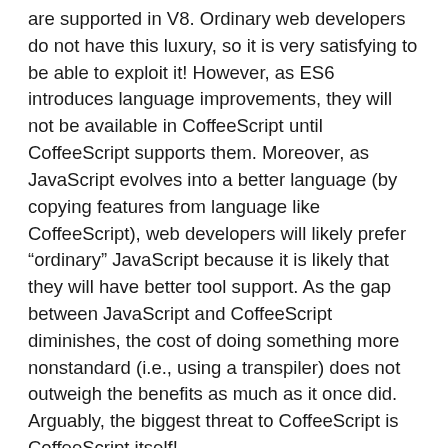are supported in V8. Ordinary web developers do not have this luxury, so it is very satisfying to be able to exploit it! However, as ES6 introduces language improvements, they will not be available in CoffeeScript until CoffeeScript supports them. Moreover, as JavaScript evolves into a better language (by copying features from language like CoffeeScript), web developers will likely prefer “ordinary” JavaScript because it is likely that they will have better tool support. As the gap between JavaScript and CoffeeScript diminishes, the cost of doing something more nonstandard (i.e., using a transpiler) does not outweigh the benefits as much as it once did. Arguably, the biggest threat to CoffeeScript is CoffeeScript itself!
Closing Thoughts
Personally, I plan to develop Atom packages in JavaScript rather than CoffeeScript. I am optimistic about where JavaScript is going (particularly with respect to ES7), so I would prefer to be able to play with the new language features directly today. I don’t know how long my code will live (or how long ES6/ES7 will take), but I find comfort in